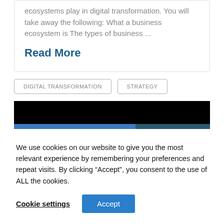ecosystems play in digital transformation. You will take away the following: What a business ecosystem is The types of business ...
Read More
DIGITAL TRANSFORMATION
STRATEGY
[Figure (other): Dark banner image with black background and blue/teal horizontal stripe at bottom]
We use cookies on our website to give you the most relevant experience by remembering your preferences and repeat visits. By clicking “Accept”, you consent to the use of ALL the cookies.
Cookie settings
Accept